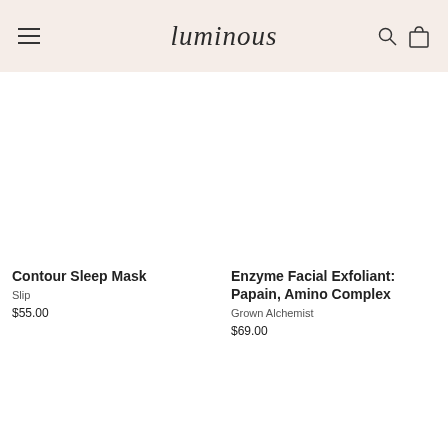luminous
Contour Sleep Mask
Slip
$55.00
Enzyme Facial Exfoliant: Papain, Amino Complex
Grown Alchemist
$69.00